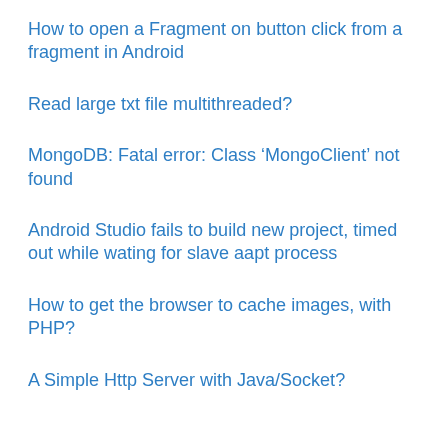How to open a Fragment on button click from a fragment in Android
Read large txt file multithreaded?
MongoDB: Fatal error: Class ‘MongoClient’ not found
Android Studio fails to build new project, timed out while wating for slave aapt process
How to get the browser to cache images, with PHP?
A Simple Http Server with Java/Socket?